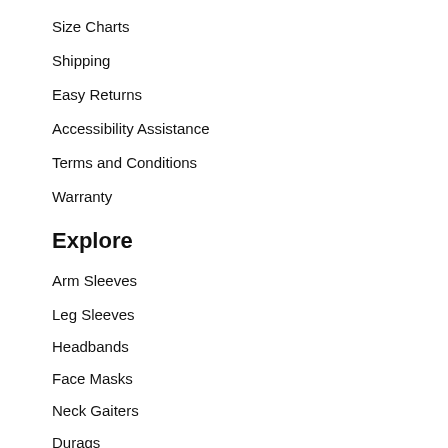Size Charts
Shipping
Easy Returns
Accessibility Assistance
Terms and Conditions
Warranty
Explore
Arm Sleeves
Leg Sleeves
Headbands
Face Masks
Neck Gaiters
Durags